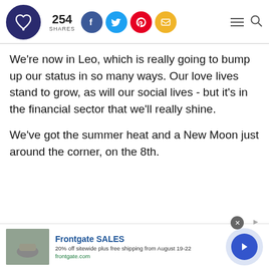254 SHARES
We're now in Leo, which is really going to bump up our status in so many ways. Our love lives stand to grow, as will our social lives - but it's in the financial sector that we'll really shine.
We've got the summer heat and a New Moon just around the corner, on the 8th.
[Figure (infographic): Advertisement banner for Frontgate SALES: 20% off sitewide plus free shipping from August 19-22. frontgate.com]